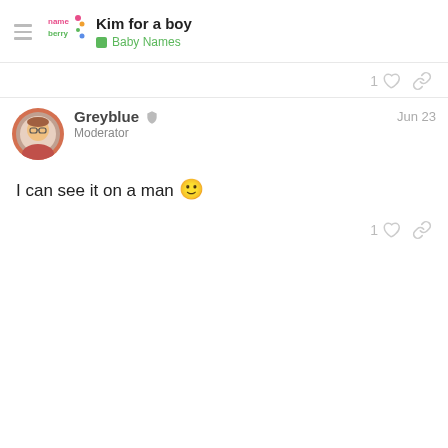Kim for a boy | Baby Names
1 like, link icon
Greyblue Moderator Jun 23
I can see it on a man 🙂
1 like, link icon